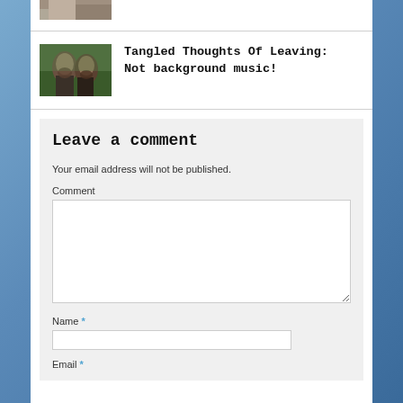[Figure (photo): Partial thumbnail image at top, cropped]
[Figure (photo): Photo of two bearded men standing together outdoors]
Tangled Thoughts Of Leaving: Not background music!
Leave a comment
Your email address will not be published.
Comment
Name *
Email *